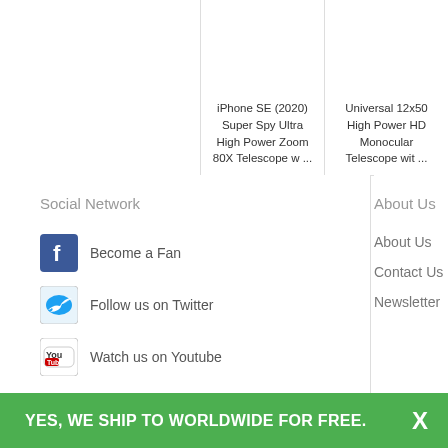iPhone SE (2020) Super Spy Ultra High Power Zoom 80X Telescope w ...
Universal 12x50 High Power HD Monocular Telescope with ...
Social Network
Become a Fan
Follow us on Twitter
Watch us on Youtube
About Us
About Us
Contact Us
Newsletter
Sign Up Our Newsletter
[Figure (logo): PayPal payment logo]
[Figure (logo): MasterCard payment logo]
YES, WE SHIP TO WORLDWIDE FOR FREE.
X